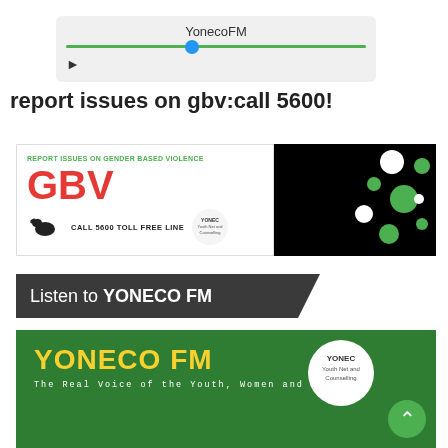[Figure (screenshot): Audio player widget showing 'YonecoFM' title with a green progress bar and blue thumb, and a play button.]
report issues on gbv:call 5600!
[Figure (infographic): GBV awareness banner: 'REPORT ISSUES ON GENDER BASED VIOLENCE' in green, large red 'GBV', bird silhouette, 'CALL 5600 TOLL FREE LINE', YONECO logo. Right side shows black background with green and white circles.]
[Figure (infographic): Dark banner with text 'Listen to YONECO FM' with a chevron shape on the right.]
[Figure (infographic): YONECO FM green banner with yellow bold title 'YONECO FM', subtitle 'The Real Voice of the Youth, Women and Children', YONECO circular logo, scroll-to-top green button, and partial microphone image at bottom.]